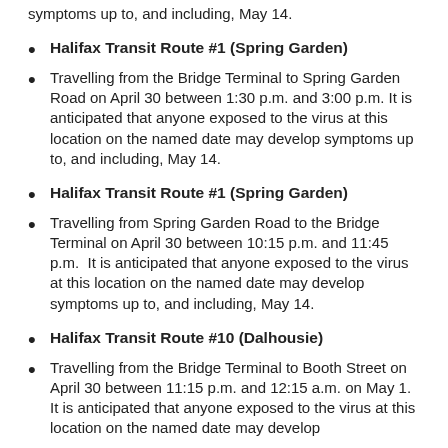symptoms up to, and including, May 14.
Halifax Transit Route #1 (Spring Garden)
Travelling from the Bridge Terminal to Spring Garden Road on April 30 between 1:30 p.m. and 3:00 p.m. It is anticipated that anyone exposed to the virus at this location on the named date may develop symptoms up to, and including, May 14.
Halifax Transit Route #1 (Spring Garden)
Travelling from Spring Garden Road to the Bridge Terminal on April 30 between 10:15 p.m. and 11:45 p.m. It is anticipated that anyone exposed to the virus at this location on the named date may develop symptoms up to, and including, May 14.
Halifax Transit Route #10 (Dalhousie)
Travelling from the Bridge Terminal to Booth Street on April 30 between 11:15 p.m. and 12:15 a.m. on May 1. It is anticipated that anyone exposed to the virus at this location on the named date may develop